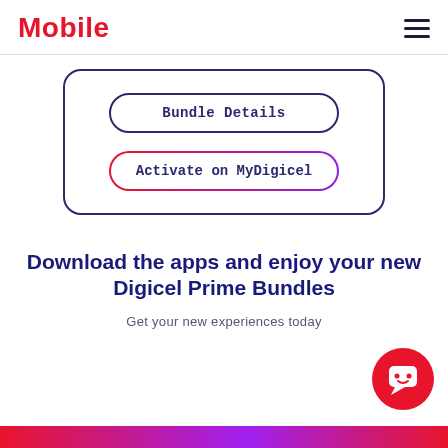Mobile
[Figure (screenshot): Card with two buttons: 'Bundle Details' (dark navy outline button) and 'Activate on MyDigicel' (gradient pink-purple outline button)]
Download the apps and enjoy your new Digicel Prime Bundles
Get your new experiences today
[Figure (illustration): Red circular chat/bot button with a smiley face icon in the bottom right corner]